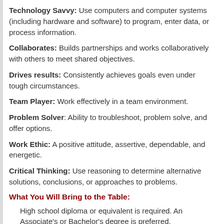Technology Savvy: Use computers and computer systems (including hardware and software) to program, enter data, or process information.
Collaborates: Builds partnerships and works collaboratively with others to meet shared objectives.
Drives results: Consistently achieves goals even under tough circumstances.
Team Player: Work effectively in a team environment.
Problem Solver: Ability to troubleshoot, problem solve, and offer options.
Work Ethic: A positive attitude, assertive, dependable, and energetic.
Critical Thinking: Use reasoning to determine alternative solutions, conclusions, or approaches to problems.
What You Will Bring to the Table:
High school diploma or equivalent is required. An Associate's or Bachelor's degree is preferred.